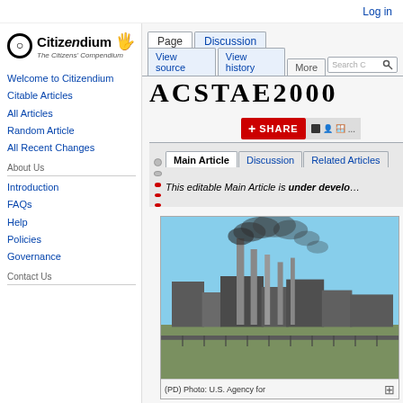Log in
[Figure (logo): Citizendium logo with key icon and text 'The Citizens' Compendium']
Page | Discussion
View source | View history | More
ACSTAE2000
SHARE
Main Article | Discussion | Related Articles
This editable Main Article is under develo...
Welcome to Citizendium
Citable Articles
All Articles
Random Article
All Recent Changes
About Us
Introduction
FAQs
Help
Policies
Governance
Contact Us
[Figure (photo): Industrial facility with smokestacks emitting dark smoke against a blue sky]
(PD) Photo: U.S. Agency for